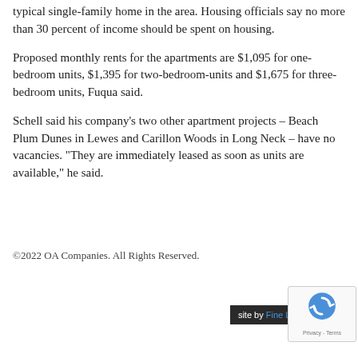typical single-family home in the area. Housing officials say no more than 30 percent of income should be spent on housing.
Proposed monthly rents for the apartments are $1,095 for one-bedroom units, $1,395 for two-bedroom-units and $1,675 for three-bedroom units, Fuqua said.
Schell said his company’s two other apartment projects – Beach Plum Dunes in Lewes and Carillon Woods in Long Neck – have no vacancies. “They are immediately leased as soon as units are available,” he said.
©2022 OA Companies. All Rights Reserved.